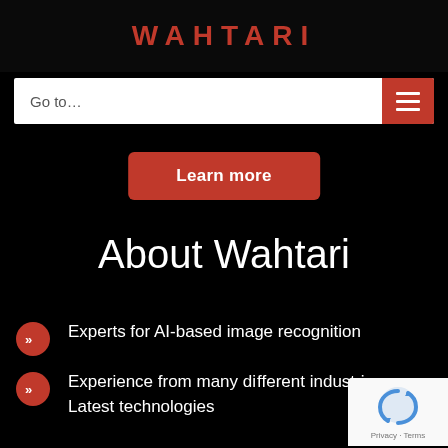WAHTARI
Go to...
[Figure (screenshot): Red hamburger menu icon (three horizontal lines) on red background]
Learn more
About Wahtari
Experts for AI-based image recognition
Experience from many different industries
Latest technologies
[Figure (logo): Google reCAPTCHA badge with Privacy and Terms links]